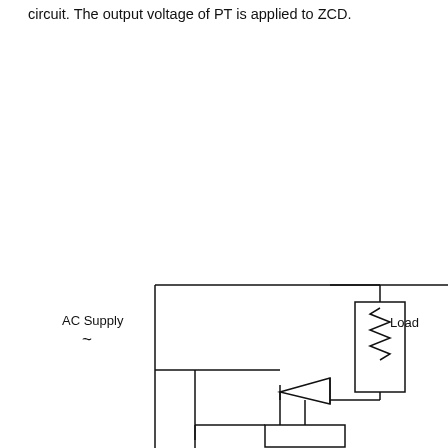circuit. The output voltage of PT is applied to ZCD.
[Figure (circuit-diagram): AC supply circuit with a load (resistor symbol) connected via a diode/thyristor (triangle with bar symbol), with two vertical lines forming a bridge/gate driver block at the bottom. AC Supply label with tilde symbol on the left. Load label on the right.]